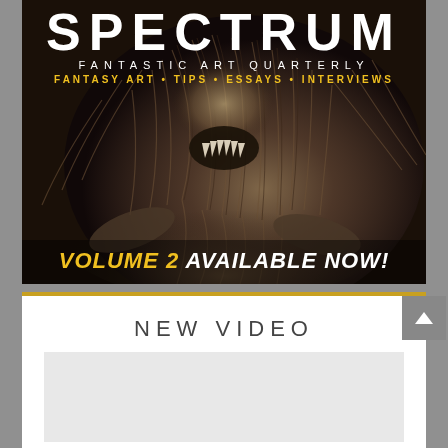[Figure (illustration): Magazine cover for Spectrum Fantastic Art Quarterly Volume 2. Shows a dark, fibrous creature with exposed teeth against a dark background. Header reads SPECTRUM FANTASTIC ART QUARTERLY with tagline FANTASY ART • TIPS • ESSAYS • INTERVIEWS. Bottom text reads VOLUME 2 AVAILABLE NOW!]
NEW VIDEO